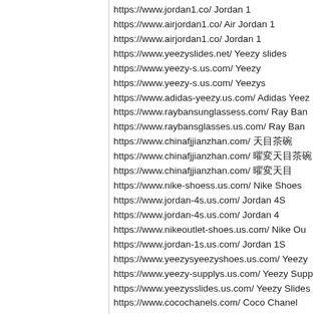https://www.jordan1.co/ Jordan 1
https://www.airjordan1.co/ Air Jordan 1
https://www.airjordan1.co/ Jordan 1
https://www.yeezyslides.net/ Yeezy slides
https://www.yeezy-s.us.com/ Yeezy
https://www.yeezy-s.us.com/ Yeezys
https://www.adidas-yeezy.us.com/ Adidas Yeez
https://www.raybansunglassess.com/ Ray Ban
https://www.raybansglasses.us.com/ Ray Ban
https://www.chinafjjianzhan.com/ 天目茶碗
https://www.chinafjjianzhan.com/ 曜変天目茶碗
https://www.chinafjjianzhan.com/ 曜変天目
https://www.nike-shoess.us.com/ Nike Shoes
https://www.jordan-4s.us.com/ Jordan 4S
https://www.jordan-4s.us.com/ Jordan 4
https://www.nikeoutlet-shoes.us.com/ Nike Ou
https://www.jordan-1s.us.com/ Jordan 1S
https://www.yeezysyeezyshoes.us.com/ Yeezy
https://www.yeezy-supplys.us.com/ Yeezy Supp
https://www.yeezysslides.us.com/ Yeezy Slides
https://www.cocochanels.com/ Coco Chanel
https://www.cocochanels.com/ Chanel